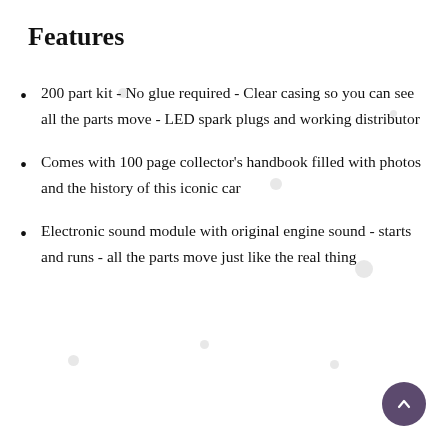Features
200 part kit - No glue required - Clear casing so you can see all the parts move - LED spark plugs and working distributor
Comes with 100 page collector's handbook filled with photos and the history of this iconic car
Electronic sound module with original engine sound - starts and runs - all the parts move just like the real thing